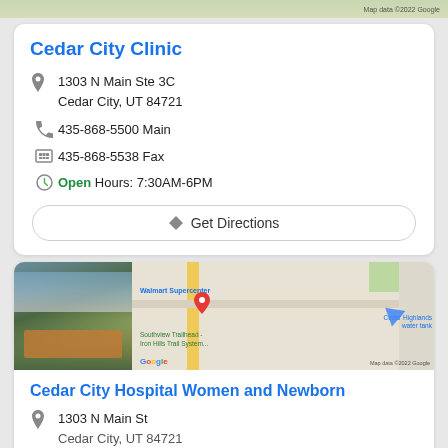[Figure (screenshot): Top map strip with Google Maps label and map data attribution]
Cedar City Clinic
1303 N Main Ste 3C
Cedar City, UT 84721
435-868-5500 Main
435-868-5538 Fax
Open Hours: 7:30AM-6PM
Get Directions
[Figure (map): Map showing location near Walmart Supercenter, Cedar Highlands water tank, Southview Trailhead - Iron Hills Trail System, with a red location pin and a building photo on the left]
Cedar City Hospital Women and Newborn
1303 N Main St
Cedar City, UT 84721